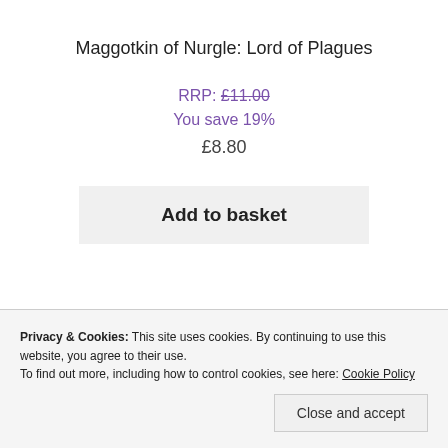Maggotkin of Nurgle: Lord of Plagues
RRP: £11.00
You save 19%
£8.80
Add to basket
Privacy & Cookies: This site uses cookies. By continuing to use this website, you agree to their use. To find out more, including how to control cookies, see here: Cookie Policy
Close and accept